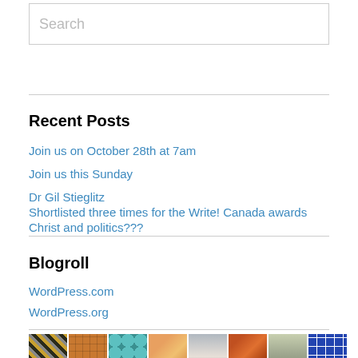Search
Recent Posts
Join us on October 28th at 7am
Join us this Sunday
Dr Gil Stieglitz
Shortlisted three times for the Write! Canada awards
Christ and politics???
Blogroll
WordPress.com
WordPress.org
[Figure (photo): Row of thumbnail images at bottom of page: striped insect/animal, orange geometric pattern, teal diamond pattern, orange cat, person with umbrella, autumn leaves, round animal face, blue/white geometric pattern]